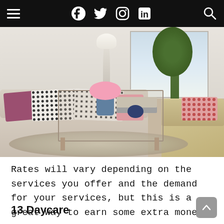Navigation bar with hamburger menu, social icons (Facebook, Twitter, Instagram, LinkedIn), and search icon
[Figure (photo): Interior living room photo showing a cream sofa with black polka-dot pillows and a purple pillow, a glass-top coffee table with pink flowers and books, armchair with floral print, a floor lamp, a fiddle-leaf fig tree, and natural light from a window.]
Rates will vary depending on the services you offer and the demand for your services, but this is a great way to earn some extra money.
13 Daycare